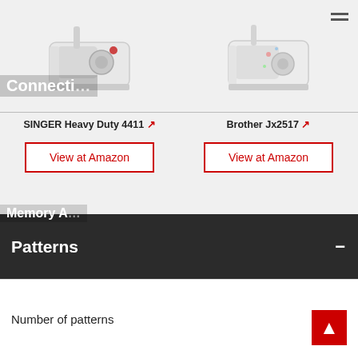[Figure (screenshot): Sewing machine product comparison page showing SINGER Heavy Duty 4411 and Brother Jx2517 with View at Amazon buttons, connectivity rows with X marks for USB, and Patterns section header]
Connecti
SINGER Heavy Duty 4411 ↗
Brother Jx2517 ↗
View at Amazon
View at Amazon
Memory A
|  | SINGER Heavy Duty 4411 | Brother Jx2517 |
| --- | --- | --- |
|  | ✕ | ✕ |
| USB |  |  |
|  | ✕ | ✕ |
Patterns
Number of patterns